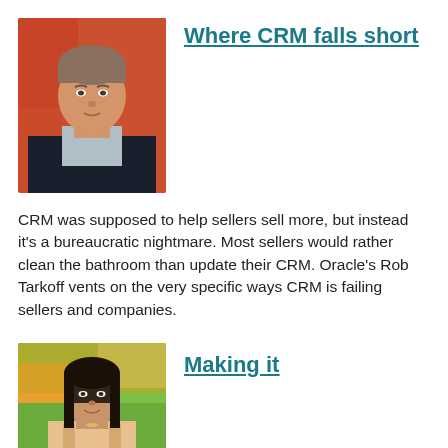[Figure (photo): Headshot of a middle-aged man in a dark blazer against an orange-red background]
Where CRM falls short
CRM was supposed to help sellers sell more, but instead it's a bureaucratic nightmare. Most sellers would rather clean the bathroom than update their CRM. Oracle's Rob Tarkoff vents on the very specific ways CRM is failing sellers and companies.
[Figure (photo): Headshot of a young woman smiling outdoors with trees in background]
Making it